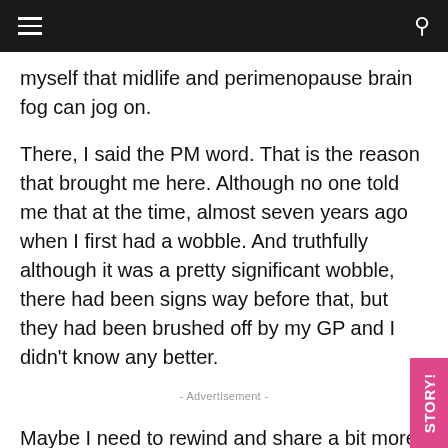myself that midlife and perimenopause brain fog can jog on.
There, I said the PM word. That is the reason that brought me here. Although no one told me that at the time, almost seven years ago when I first had a wobble. And truthfully although it was a pretty significant wobble, there had been signs way before that, but they had been brushed off by my GP and I didn't know any better.
- Advertisement -
Maybe I need to rewind and share a bit more about the wobble.